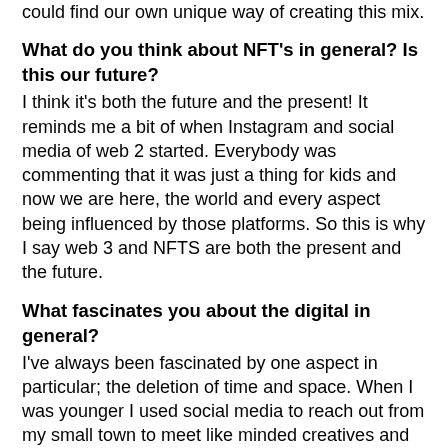could find our own unique way of creating this mix.
What do you think about NFT's in general? Is this our future?
I think it's both the future and the present! It reminds me a bit of when Instagram and social media of web 2 started. Everybody was commenting that it was just a thing for kids and now we are here, the world and every aspect being influenced by those platforms. So this is why I say web 3 and NFTS are both the present and the future.
What fascinates you about the digital in general?
I've always been fascinated by one aspect in particular; the deletion of time and space. When I was younger I used social media to reach out from my small town to meet like minded creatives and now with web 3 and the new digital era I see this enhanced.
You have already, if I remember correctly, also styled the digital looks of the brand Auroboros, among others. What is the difference between “styling” in real life and in this digital sphere? Does it make you freer